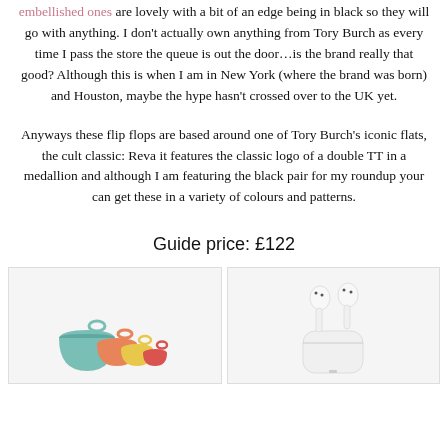embellished ones are lovely with a bit of an edge being in black so they will go with anything. I don't actually own anything from Tory Burch as every time I pass the store the queue is out the door…is the brand really that good? Although this is when I am in New York (where the brand was born) and Houston, maybe the hype hasn't crossed over to the UK yet.
Anyways these flip flops are based around one of Tory Burch's iconic flats, the cult classic: Reva it features the classic logo of a double TT in a medallion and although I am featuring the black pair for my roundup your can get these in a variety of colours and patterns.
Guide price: £122
[Figure (photo): Colorful measuring cups/spoons set in teal, yellow, orange, red colors]
[Figure (photo): Apple AirPods wireless earbuds in white charging case]